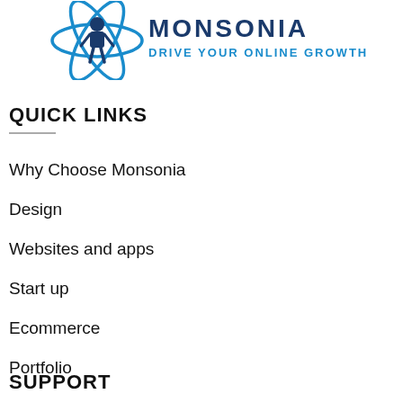[Figure (logo): Monsonia logo with stylized blue figure/atom icon and text 'MONSONIA DRIVE YOUR ONLINE GROWTH' in blue]
QUICK LINKS
Why Choose Monsonia
Design
Websites and apps
Start up
Ecommerce
Portfolio
SUPPORT